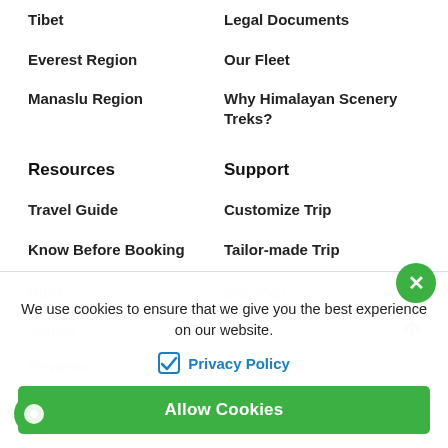Tibet
Legal Documents
Everest Region
Our Fleet
Manaslu Region
Why Himalayan Scenery Treks?
Resources
Support
Travel Guide
Customize Trip
Know Before Booking
Tailor-made Trip
Blog
Site Map
Videos
Reviews
Contact Us
We use cookies to ensure that we give you the best experience on our website.
Privacy Policy
Allow Cookies